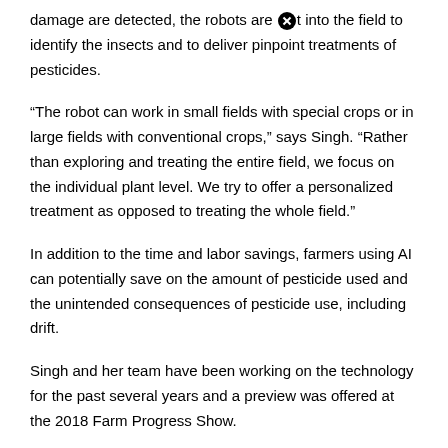damage are detected, the robots are [icon] into the field to identify the insects and to deliver pinpoint treatments of pesticides.
“The robot can work in small fields with special crops or in large fields with conventional crops,” says Singh. “Rather than exploring and treating the entire field, we focus on the individual plant level. We try to offer a personalized treatment as opposed to treating the whole field.”
In addition to the time and labor savings, farmers using AI can potentially save on the amount of pesticide used and the unintended consequences of pesticide use, including drift.
Singh and her team have been working on the technology for the past several years and a preview was offered at the 2018 Farm Progress Show.
Her research continued and she received some prestigious grants to further develop and perfect the use of AI for pest control.
According to Singh, farmers appreciate [icon] AI technology in general and how it